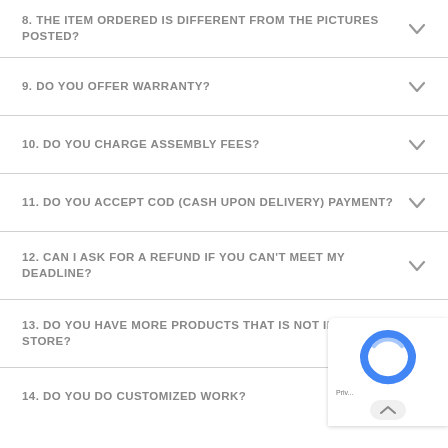8. THE ITEM ORDERED IS DIFFERENT FROM THE PICTURES POSTED?
9. DO YOU OFFER WARRANTY?
10. DO YOU CHARGE ASSEMBLY FEES?
11. DO YOU ACCEPT COD (CASH UPON DELIVERY) PAYMENT?
12. CAN I ASK FOR A REFUND IF YOU CAN'T MEET MY DEADLINE?
13. DO YOU HAVE MORE PRODUCTS THAT IS NOT IN THE STORE?
14. DO YOU DO CUSTOMIZED WORK?